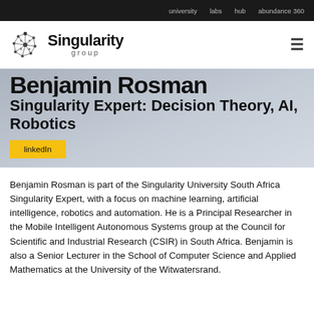university   labs   hub   abundance 360
[Figure (logo): Singularity Group logo with dot-network icon and wordmark]
Benjamin Rosman
Singularity Expert: Decision Theory, AI, Robotics
linkedIn
Benjamin Rosman is part of the Singularity University South Africa Singularity Expert, with a focus on machine learning, artificial intelligence, robotics and automation. He is a Principal Researcher in the Mobile Intelligent Autonomous Systems group at the Council for Scientific and Industrial Research (CSIR) in South Africa. Benjamin is also a Senior Lecturer in the School of Computer Science and Applied Mathematics at the University of the Witwatersrand.